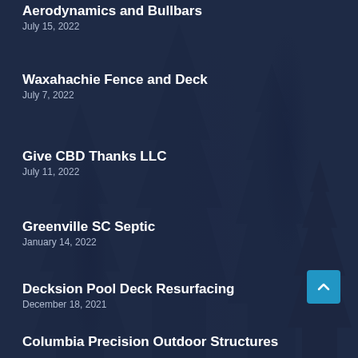Aerodynamics and Bullbars
July 15, 2022
Waxahachie Fence and Deck
July 7, 2022
Give CBD Thanks LLC
July 11, 2022
Greenville SC Septic
January 14, 2022
Decksion Pool Deck Resurfacing
December 18, 2021
Columbia Precision Outdoor Structures